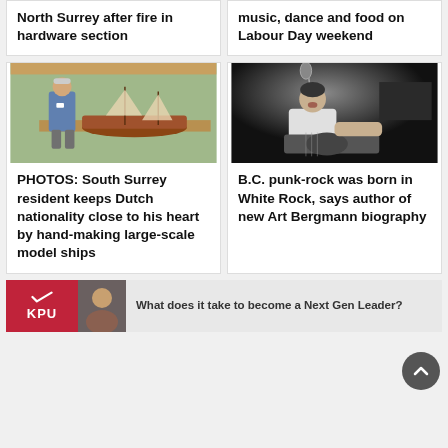North Surrey after fire in hardware section
music, dance and food on Labour Day weekend
[Figure (photo): Older man standing next to a large hand-made wooden model ship on display in a room with windows and trees visible outside]
PHOTOS: South Surrey resident keeps Dutch nationality close to his heart by hand-making large-scale model ships
[Figure (photo): Black and white photo of a young man singing into a microphone while playing guitar on stage]
B.C. punk-rock was born in White Rock, says author of new Art Bergmann biography
[Figure (infographic): KPU advertisement banner: red KPU logo on left, photo of smiling woman, text reading What does it take to become a Next Gen Leader?]